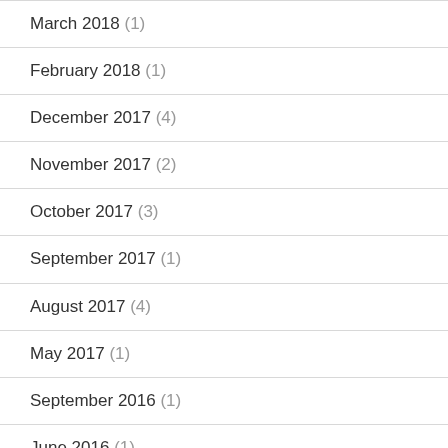March 2018 (1)
February 2018 (1)
December 2017 (4)
November 2017 (2)
October 2017 (3)
September 2017 (1)
August 2017 (4)
May 2017 (1)
September 2016 (1)
June 2016 (1)